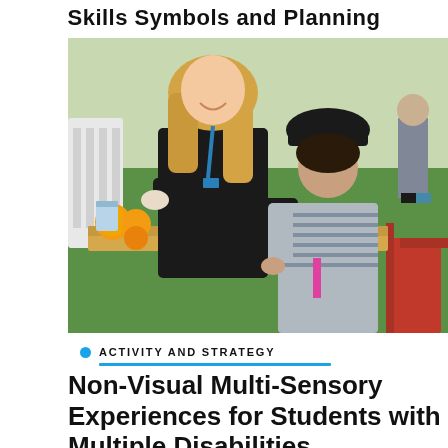Skills Symbols and Planning
[Figure (photo): A woman with long blonde hair wearing a black shirt and blue lanyard assists a young child wearing a black baseball cap and striped long-sleeve shirt in using a citrus juicer at an outdoor table. Oranges and cups are visible on the table. Green grass is visible in the background.]
ACTIVITY AND STRATEGY
Non-Visual Multi-Sensory Experiences for Students with Multiple Disabilities